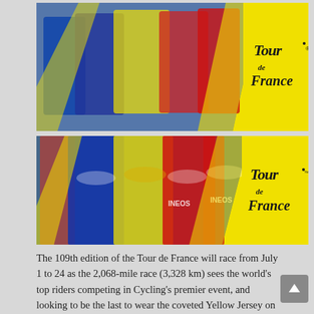[Figure (photo): Top banner with Tour de France cyclists photo, yellow diagonal stripe frame design, and Tour de France logo on yellow background]
[Figure (photo): Main banner with Tour de France cyclists photo including riders in yellow, blue, and red INEOS jerseys, yellow diagonal stripe frame design, and Tour de France logo on yellow background]
The 109th edition of the Tour de France will race from July 1 to 24 as the 2,068-mile race (3,328 km) sees the world's top riders competing in Cycling's premier event, and looking to be the last to wear the coveted Yellow Jersey on the 25th stop on the UCI World Tour.